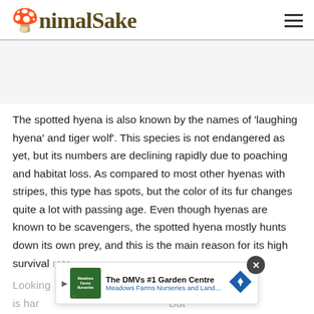AnimalSake
The spotted hyena is also known by the names of 'laughing hyena' and tiger wolf'. This species is not endangered as yet, but its numbers are declining rapidly due to poaching and habitat loss. As compared to most other hyenas with stripes, this type has spots, but the color of its fur changes quite a lot with passing age. Even though hyenas are known to be scavengers, the spotted hyena mostly hunts down its own prey, and this is the main reason for its high survival rate.
Looking at...te, it is har... But
[Figure (other): Advertisement overlay: The DMVs #1 Garden Centre - Meadows Farms Nurseries and Landsc.. with close button and arrow icon]